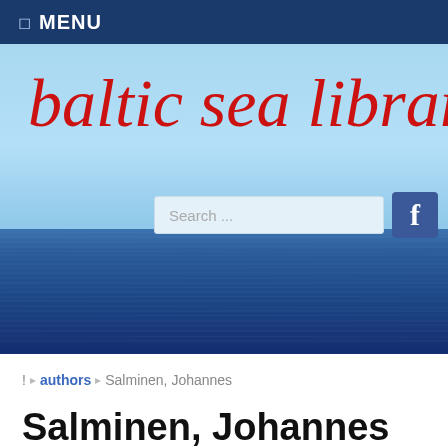MENU
[Figure (photo): Baltic Sea Library website header with cursive red 'baltic sea library' logo on a light blue sky background above a dark blue Baltic Sea water photo, with a search box and Facebook icon.]
! > authors > Salminen, Johannes
Salminen, Johannes